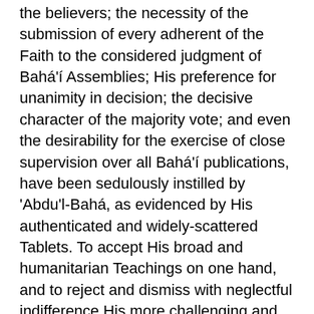the believers; the necessity of the submission of every adherent of the Faith to the considered judgment of Bahá'í Assemblies; His preference for unanimity in decision; the decisive character of the majority vote; and even the desirability for the exercise of close supervision over all Bahá'í publications, have been sedulously instilled by 'Abdu'l-Bahá, as evidenced by His authenticated and widely-scattered Tablets. To accept His broad and humanitarian Teachings on one hand, and to reject and dismiss with neglectful indifference His more challenging and distinguishing precepts, would be an act of manifest disloyalty to that which He has cherished most in His life.
	That the Spiritual Assemblies of today will be replaced in time by the Houses of Justice, and are to all intents and purposes identical and not separate bodies, is abundantly confirmed by 'Abdu'l-Bahá Himself in some of His Tablets, through several...